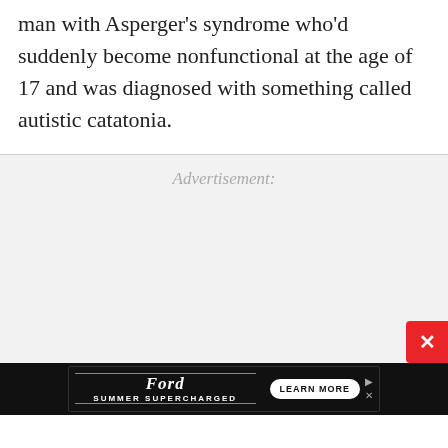man with Asperger's syndrome who'd suddenly become nonfunctional at the age of 17 and was diagnosed with something called autistic catatonia.
Advertisement:
[Figure (other): Ford Summer Supercharged advertisement banner with Ford logo, 'SUMMER SUPERCHARGED' text, and a 'LEARN MORE' button on a black background. Accompanied by a red close button with an X.]